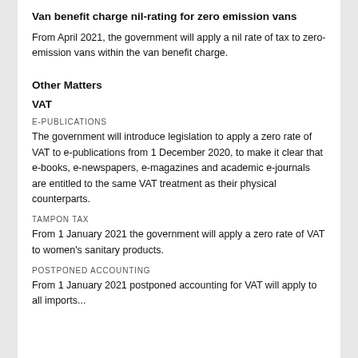Van benefit charge nil-rating for zero emission vans
From April 2021, the government will apply a nil rate of tax to zero-emission vans within the van benefit charge.
Other Matters
VAT
E-PUBLICATIONS
The government will introduce legislation to apply a zero rate of VAT to e-publications from 1 December 2020, to make it clear that e-books, e-newspapers, e-magazines and academic e-journals are entitled to the same VAT treatment as their physical counterparts.
TAMPON TAX
From 1 January 2021 the government will apply a zero rate of VAT to women's sanitary products.
POSTPONED ACCOUNTING
From 1 January 2021 postponed accounting for VAT will apply to all imports...